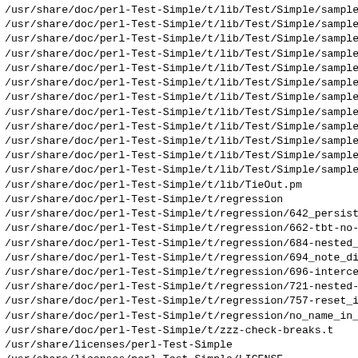/usr/share/doc/perl-Test-Simple/t/lib/Test/Simple/sample_
/usr/share/doc/perl-Test-Simple/t/lib/Test/Simple/sample_
/usr/share/doc/perl-Test-Simple/t/lib/Test/Simple/sample_
/usr/share/doc/perl-Test-Simple/t/lib/Test/Simple/sample_
/usr/share/doc/perl-Test-Simple/t/lib/Test/Simple/sample_
/usr/share/doc/perl-Test-Simple/t/lib/Test/Simple/sample_
/usr/share/doc/perl-Test-Simple/t/lib/Test/Simple/sample_
/usr/share/doc/perl-Test-Simple/t/lib/Test/Simple/sample_
/usr/share/doc/perl-Test-Simple/t/lib/Test/Simple/sample_
/usr/share/doc/perl-Test-Simple/t/lib/Test/Simple/sample_
/usr/share/doc/perl-Test-Simple/t/lib/Test/Simple/sample_
/usr/share/doc/perl-Test-Simple/t/lib/Test/Simple/sample_
/usr/share/doc/perl-Test-Simple/t/lib/TieOut.pm
/usr/share/doc/perl-Test-Simple/t/regression
/usr/share/doc/perl-Test-Simple/t/regression/642_persiste
/usr/share/doc/perl-Test-Simple/t/regression/662-tbt-no-p
/usr/share/doc/perl-Test-Simple/t/regression/684-nested_t
/usr/share/doc/perl-Test-Simple/t/regression/694_note_dia
/usr/share/doc/perl-Test-Simple/t/regression/696-intercep
/usr/share/doc/perl-Test-Simple/t/regression/721-nested-s
/usr/share/doc/perl-Test-Simple/t/regression/757-reset_in
/usr/share/doc/perl-Test-Simple/t/regression/no_name_in_s
/usr/share/doc/perl-Test-Simple/t/zzz-check-breaks.t
/usr/share/licenses/perl-Test-Simple
/usr/share/licenses/perl-Test-Simple/LICENSE
/usr/share/man/man3/Test2.3pm.gz
/usr/share/man/man3/Test2::API.3pm.gz
/usr/share/man/man3/Test2::API::Breakage.3pm.gz
/usr/share/man/man3/Test2::API::Context.3pm.gz
/usr/share/man/man3/Test2::API::Instance.3pm.gz